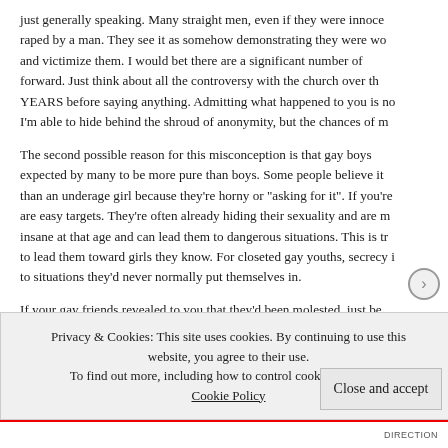just generally speaking. Many straight men, even if they were innocent, raped by a man. They see it as somehow demonstrating they were wo and victimize them. I would bet there are a significant number of forward. Just think about all the controversy with the church over th YEARS before saying anything. Admitting what happened to you is no I'm able to hide behind the shroud of anonymity, but the chances of m
The second possible reason for this misconception is that gay boys expected by many to be more pure than boys. Some people believe it than an underage girl because they're horny or "asking for it". If you're are easy targets. They're often already hiding their sexuality and are m insane at that age and can lead them to dangerous situations. This is tr to lead them toward girls they know. For closeted gay youths, secrecy i to situations they'd never normally put themselves in.
If your gay friends revealed to you that they'd been molested, just be the more valuable part of themselves. Many straight men don't ran
Privacy & Cookies: This site uses cookies. By continuing to use this website, you agree to their use.
To find out more, including how to control cookies, see here: Cookie Policy
Close and accept